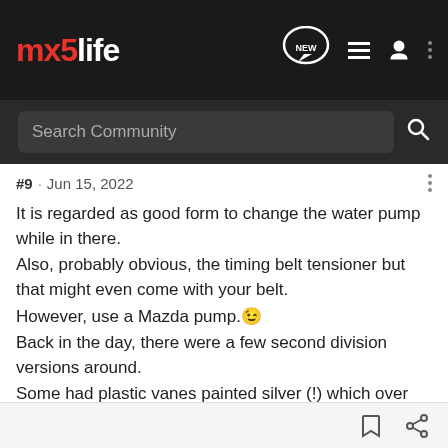mx5life — navigation header with search bar
#9 · Jun 15, 2022
It is regarded as good form to change the water pump while in there.
Also, probably obvious, the timing belt tensioner but that might even come with your belt.
However, use a Mazda pump.😉
Back in the day, there were a few second division versions around.
Some had plastic vanes painted silver (!) which over time could actually weaken & break off with antifreeze chemical erosion.
bill119 and boxerdog1